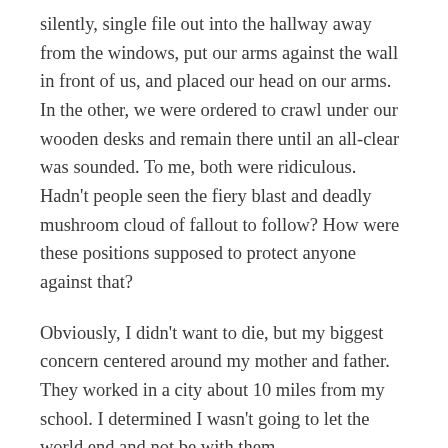silently, single file out into the hallway away from the windows, put our arms against the wall in front of us, and placed our head on our arms. In the other, we were ordered to crawl under our wooden desks and remain there until an all-clear was sounded. To me, both were ridiculous. Hadn't people seen the fiery blast and deadly mushroom cloud of fallout to follow? How were these positions supposed to protect anyone against that?
Obviously, I didn't want to die, but my biggest concern centered around my mother and father. They worked in a city about 10 miles from my school. I determined I wasn't going to let the world end and not be with them.
So, I came up with a plan. My 4th grade teacher was Mrs. Dorothy Robinson. She drove a big Oldsmobile. I had observed that she always put her car keys in her large